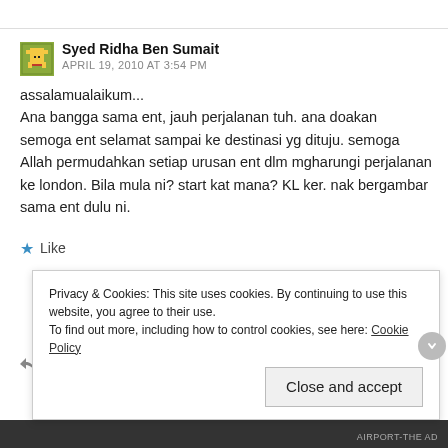Syed Ridha Ben Sumait
APRIL 19, 2010 AT 3:54 PM
assalamualaikum...
Ana bangga sama ent, jauh perjalanan tuh. ana doakan semoga ent selamat sampai ke destinasi yg dituju. semoga Allah permudahkan setiap urusan ent dlm mgharungi perjalanan ke london. Bila mula ni? start kat mana? KL ker. nak bergambar sama ent dulu ni.
Like
REPLY
Privacy & Cookies: This site uses cookies. By continuing to use this website, you agree to their use.
To find out more, including how to control cookies, see here: Cookie Policy
Close and accept